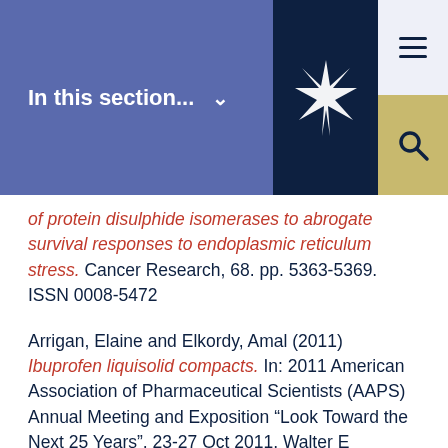In this section...
of protein disulphide isomerases to abrogate survival responses to endoplasmic reticulum stress. Cancer Research, 68. pp. 5363-5369. ISSN 0008-5472
Arrigan, Elaine and Elkordy, Amal (2011) Ibuprofen liquisolid compacts. In: 2011 American Association of Pharmaceutical Scientists (AAPS) Annual Meeting and Exposition “Look Toward the Next 25 Years”, 23-27 Oct 2011, Walter E Washington Convention Center, Washington, DC, USA. (Unpublished)
Arshada, Muhammad Sohail, Zafar, Saman,